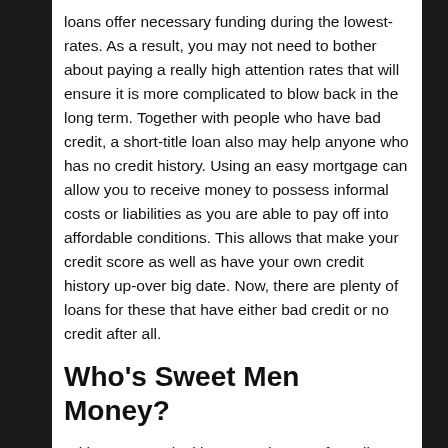loans offer necessary funding during the lowest-rates. As a result, you may not need to bother about paying a really high attention rates that will ensure it is more complicated to blow back in the long term. Together with people who have bad credit, a short-title loan also may help anyone who has no credit history. Using an easy mortgage can allow you to receive money to possess informal costs or liabilities as you are able to pay off into affordable conditions. This allows that make your credit score as well as have your own credit history up-over big date. Now, there are plenty of loans for these that have either bad credit or no credit after all.
Who's Sweet Men Money?
With respect to looking a vendor out-of small-identity small funds, there are many companies that you can